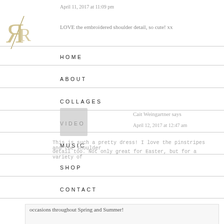[Figure (logo): Blog logo with stylized R/R letters in gold/beige on diagonal]
April 11, 2017 at 11:09 pm
LOVE the embroidered shoulder detail, so cute! xx
HOME
ABOUT
COLLAGES
VIDEO
MUSIC
SHOP
CONTACT
Cait Weingartner says
April 12, 2017 at 12:47 am
This is such a pretty dress! I love the pinstripes and the shoulder detail too. Not only great for Easter, but for a variety of occasions throughout Spring and Summer!